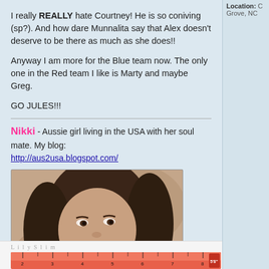Location: C Grove, NC
I really REALLY hate Courtney! He is so coniving (sp?). And how dare Munnalita say that Alex doesn't deserve to be there as much as she does!!
Anyway I am more for the Blue team now. The only one in the Red team I like is Marty and maybe Greg.
GO JULES!!!
Nikki - Aussie girl living in the USA with her soul mate. My blog: http://aus2usa.blogspot.com/
[Figure (photo): Sepia-toned close-up portrait photo of a woman with long dark hair, resting her chin on her hands, looking sideways at the camera with a slight smile.]
[Figure (infographic): LilySlim progress bar showing a pink/red tape measure graphic at the bottom of the post.]